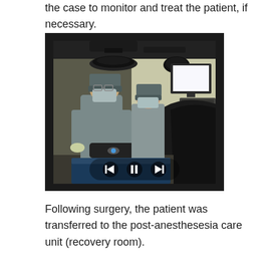the case to monitor and treat the patient, if necessary.
[Figure (photo): Two surgeons in scrubs, masks, and surgical caps performing an operation in an operating room. Overhead surgical lights are visible at the top. A monitor/screen is visible in the upper right. Video playback controls (back, pause, forward) are overlaid at the bottom center of the image.]
Following surgery, the patient was transferred to the post-anesthesesia care unit (recovery room).